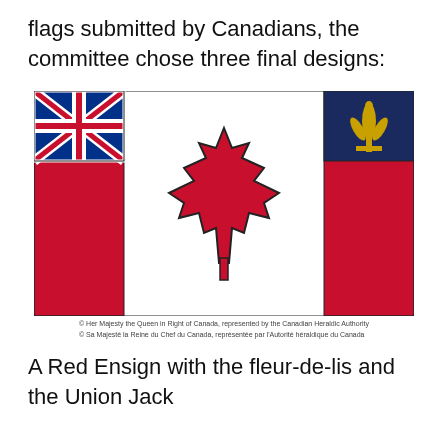flags submitted by Canadians, the committee chose three final designs:
[Figure (illustration): A Red Ensign flag design with a Union Jack in the upper left canton, a large red maple leaf on a white central panel, and a blue shield with a gold fleur-de-lis in the upper right corner. The flag has a red field on both sides.]
© Her Majesty the Queen in Right of Canada, represented by the Canadian Heraldic Authority
© Sa Majesté la Reine du Chef du Canada, représentée par l'Autorité héraldique du Canada
A Red Ensign with the fleur-de-lis and the Union Jack